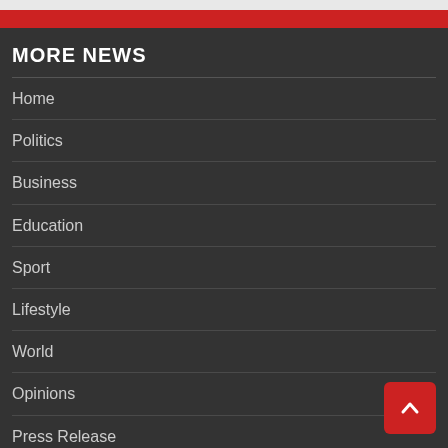MORE NEWS
Home
Politics
Business
Education
Sport
Lifestyle
World
Opinions
Press Release
Hot Audios
Videos
Lifestyle